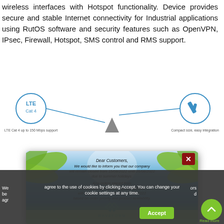wireless interfaces with Hotspot functionality. Device provides secure and stable Internet connectivity for Industrial applications using RutOS software and security features such as OpenVPN, IPsec, Firewall, Hotspot, SMS control and RMS support.
[Figure (infographic): Product feature icons: LTE Cat 4 circle icon on left with line connecting to device center, compact size easy integration icon on right. Device silhouette in center.]
[Figure (screenshot): Popup modal overlay with tropical beach/palm tree background. Contains italic text message from Waveform company about summer holiday closure 15/08/2022 to 26/08/2022, and order processing info. Waveform logo at bottom. Red X close button top right.]
We use cookies to improve your browsing experience, show you personalized content based on your interests, and help us analyze and improve our website. By clicking Accept, you agree to the use of cookies by clicking Accept. You can change your cookie settings at any time.